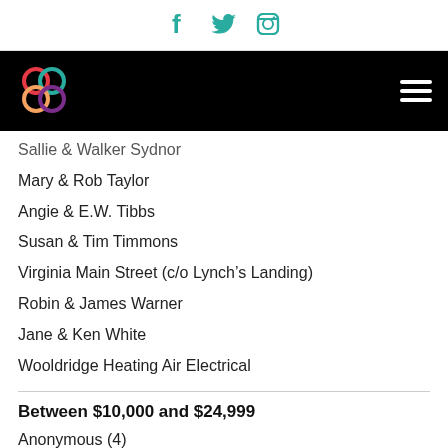Social media icons: Facebook, Twitter, Instagram
[Figure (logo): Organization logo with colorful overlapping circles on black navigation bar]
Sallie & Walker Sydnor
Mary & Rob Taylor
Angie & E.W. Tibbs
Susan & Tim Timmons
Virginia Main Street (c/o Lynch's Landing)
Robin & James Warner
Jane & Ken White
Wooldridge Heating Air Electrical
Between $10,000 and $24,999
Anonymous (4)
Anne & John Alfieri